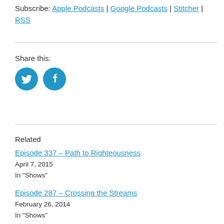Subscribe: Apple Podcasts | Google Podcasts | Stitcher | RSS
Share this:
[Figure (illustration): Two circular social media icon buttons: Twitter (bird icon) and Facebook (f icon), both in solid blue (#2196c7)]
Related
Episode 337 – Path to Righteousness
April 7, 2015
In "Shows"
Episode 287 – Crossing the Streams
February 26, 2014
In "Shows"